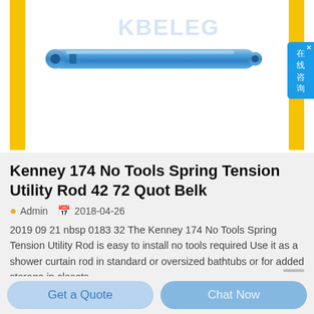[Figure (photo): Blue Kenney spring tension utility rod (tubular, horizontal) displayed against white background with yellow vertical side borders. Watermark text 'KBELEG' visible in light blue.]
Kenney 174 No Tools Spring Tension Utility Rod 42 72 Quot Belk
Admin   2018-04-26
2019 09 21 nbsp 0183 32 The Kenney 174 No Tools Spring Tension Utility Rod is easy to install no tools required Use it as a shower curtain rod in standard or oversized bathtubs or for added storage in closets